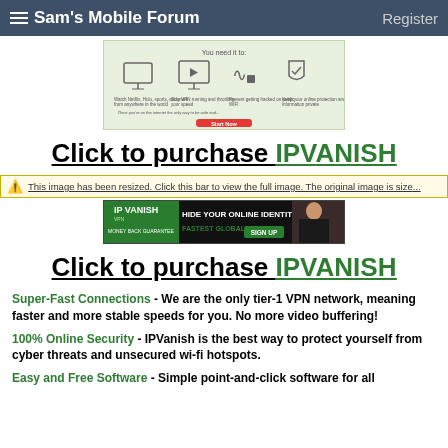Sam's Mobile Forum  Register
[Figure (screenshot): IPVanish VPN advertisement showing icons for watching content, streaming, public Wi-Fi protection, and a 'Start Now' button on green background]
Click to purchase IPVANISH
This image has been resized. Click this bar to view the full image. The original image is size...
[Figure (screenshot): IPVanish VPN banner ad - HIDE YOUR ONLINE IDENTITY, FASTEST GLOBAL VPN, SIGN UP]
Click to purchase IPVANISH
Super-Fast Connections - We are the only tier-1 VPN network, meaning faster and more stable speeds for you. No more video buffering!
100% Online Security - IPVanish is the best way to protect yourself from cyber threats and unsecured wi-fi hotspots.
Easy and Free Software - Simple point-and-click software for all...